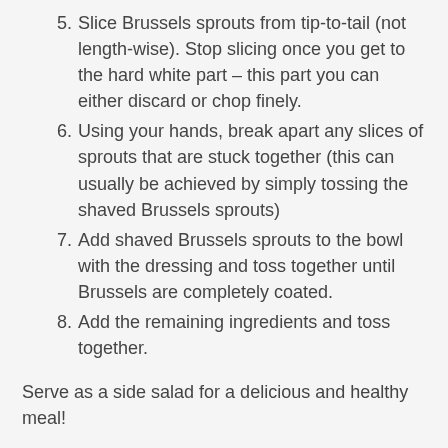5. Slice Brussels sprouts from tip-to-tail (not length-wise). Stop slicing once you get to the hard white part – this part you can either discard or chop finely.
6. Using your hands, break apart any slices of sprouts that are stuck together (this can usually be achieved by simply tossing the shaved Brussels sprouts)
7. Add shaved Brussels sprouts to the bowl with the dressing and toss together until Brussels are completely coated.
8. Add the remaining ingredients and toss together.
Serve as a side salad for a delicious and healthy meal!